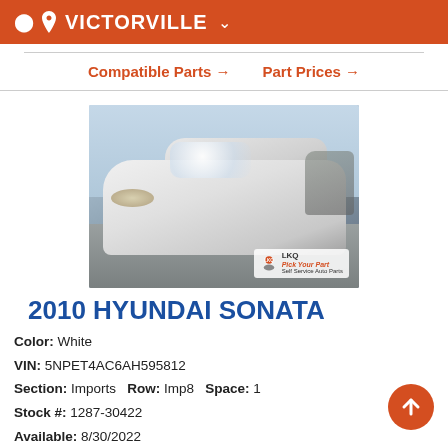VICTORVILLE
Compatible Parts → Part Prices →
[Figure (photo): Photo of a white 2010 Hyundai Sonata sedan in a salvage yard, with LKQ Pick Your Part watermark logo in bottom right corner]
2010 HYUNDAI SONATA
Color: White
VIN: 5NPET4AC6AH595812
Section: Imports  Row: Imp8  Space: 1
Stock #: 1287-30422
Available: 8/30/2022